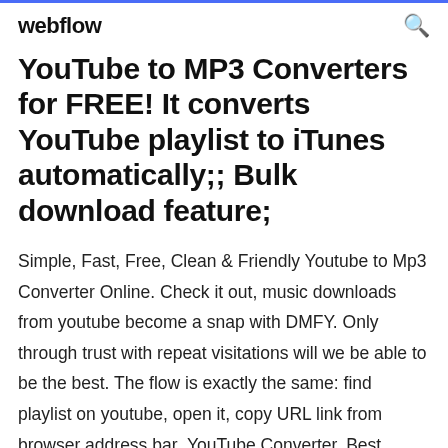webflow
YouTube to MP3 Converters for FREE! It converts YouTube playlist to iTunes automatically;; Bulk download feature;
Simple, Fast, Free, Clean & Friendly Youtube to Mp3 Converter Online. Check it out, music downloads from youtube become a snap with DMFY. Only through trust with repeat visitations will we be able to be the best. The flow is exactly the same: find playlist on youtube, open it, copy URL link from browser address bar  YouTube Converter. Best YouTube Converter to Download YouTube Video and Audio. YouTube To MP3 Converter. Music